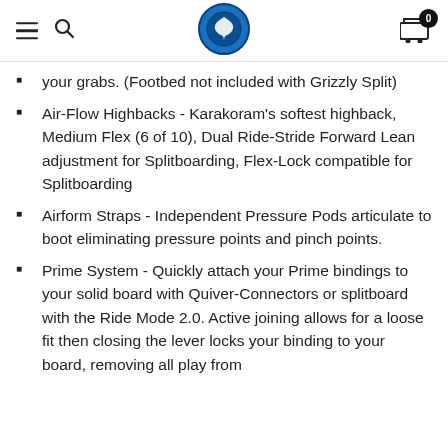Navigation header with hamburger menu, search icon, store logo, and cart icon with badge 0
your grabs. (Footbed not included with Grizzly Split)
Air-Flow Highbacks - Karakoram's softest highback, Medium Flex (6 of 10), Dual Ride-Stride Forward Lean adjustment for Splitboarding, Flex-Lock compatible for Splitboarding
Airform Straps - Independent Pressure Pods articulate to boot eliminating pressure points and pinch points.
Prime System - Quickly attach your Prime bindings to your solid board with Quiver-Connectors or splitboard with the Ride Mode 2.0. Active joining allows for a loose fit then closing the lever locks your binding to your board, removing all play from